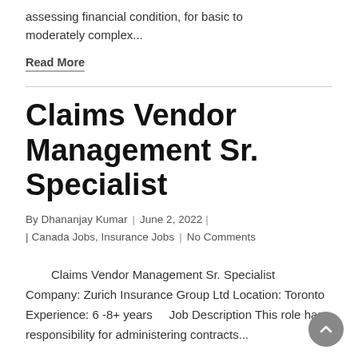assessing financial condition, for basic to moderately complex...
Read More
Claims Vendor Management Sr. Specialist
By Dhananjay Kumar | June 2, 2022 | Canada Jobs, Insurance Jobs | No Comments
Claims Vendor Management Sr. Specialist Company: Zurich Insurance Group Ltd Location: Toronto Experience: 6 -8+ years    Job Description This role has responsibility for administering contracts...